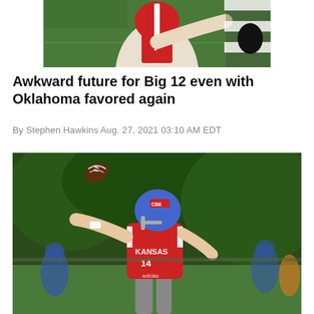[Figure (photo): Top portion of a football player wearing number 7 in a white/maroon uniform throwing a pass, with a referee in striped uniform visible on the right, on a green turf field]
Awkward future for Big 12 even with Oklahoma favored again
By Stephen Hawkins Aug. 27, 2021 03:10 AM EDT
[Figure (photo): Kansas Jayhawks quarterback wearing a blue helmet and red jersey number 14 throwing a football during practice, with other players in blue uniforms visible in the background on a green field]